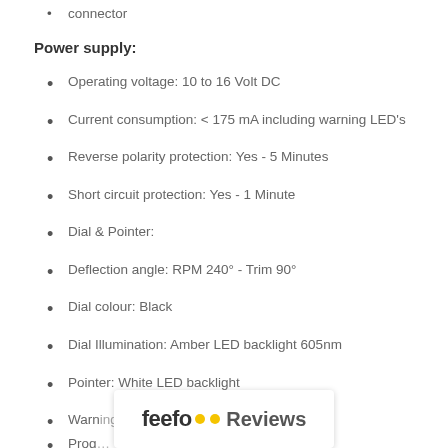connector
Power supply:
Operating voltage: 10 to 16 Volt DC
Current consumption: < 175 mA including warning LED's
Reverse polarity protection: Yes - 5 Minutes
Short circuit protection: Yes - 1 Minute
Dial & Pointer:
Deflection angle: RPM 240° - Trim 90°
Dial colour: Black
Dial Illumination: Amber LED backlight 605nm
Pointer: White LED backlight
Warning LED: Red (630nm)
Prog… kit